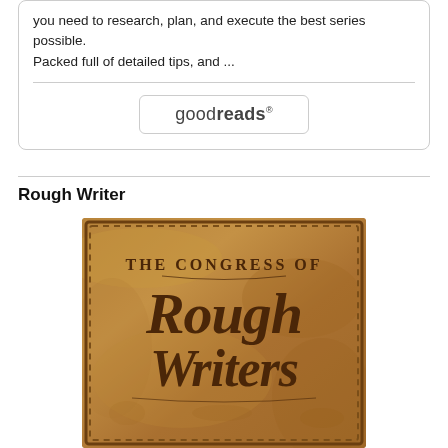you need to research, plan, and execute the best series possible.
Packed full of detailed tips, and ...
[Figure (logo): Goodreads button/logo with rounded rectangle border]
Rough Writer
[Figure (photo): Book cover for 'The Congress of Rough Writers' — leather-textured brown surface with embossed decorative lettering]